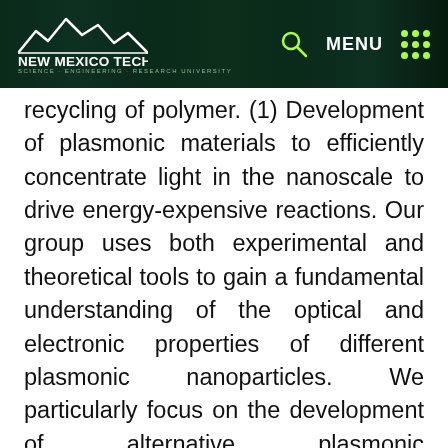New Mexico Tech - Navigation header with logo, search, and menu
recycling of polymer. (1) Development of plasmonic materials to efficiently concentrate light in the nanoscale to drive energy-expensive reactions. Our group uses both experimental and theoretical tools to gain a fundamental understanding of the optical and electronic properties of different plasmonic nanoparticles. We particularly focus on the development of alternative plasmonic nanomaterials which can replace conventional plasmonic materials such as gold and silver. We are studying refractory plasmonic nanomaterials such